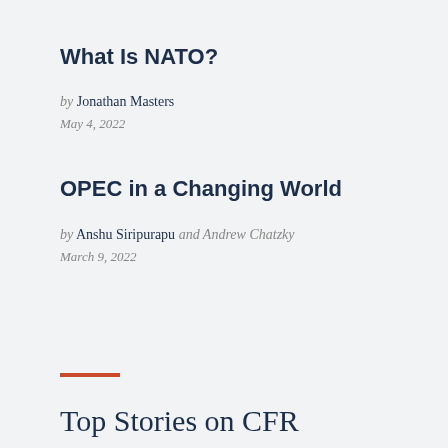What Is NATO?
by Jonathan Masters
May 4, 2022
OPEC in a Changing World
by Anshu Siripurapu and Andrew Chatzky
March 9, 2022
Top Stories on CFR